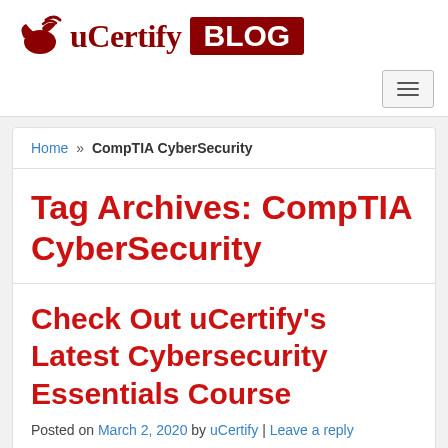[Figure (logo): uCertify BLOG logo with bird icon in dark red and white text on dark red background]
Home » CompTIA CyberSecurity
Tag Archives: CompTIA CyberSecurity
Check Out uCertify's Latest Cybersecurity Essentials Course
Posted on March 2, 2020 by uCertify | Leave a reply
The Cybersecurity Essentials course has been designed to